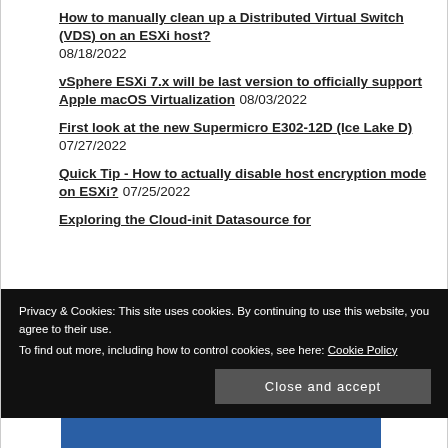How to manually clean up a Distributed Virtual Switch (VDS) on an ESXi host? 08/18/2022
vSphere ESXi 7.x will be last version to officially support Apple macOS Virtualization 08/03/2022
First look at the new Supermicro E302-12D (Ice Lake D) 07/27/2022
Quick Tip - How to actually disable host encryption mode on ESXi? 07/25/2022
Exploring the Cloud-init Datasource for
Privacy & Cookies: This site uses cookies. By continuing to use this website, you agree to their use.
To find out more, including how to control cookies, see here: Cookie Policy
Close and accept